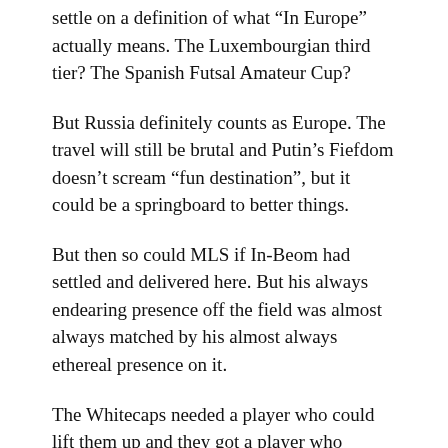settle on a definition of what “In Europe” actually means. The Luxembourgian third tier? The Spanish Futsal Amateur Cup?
But Russia definitely counts as Europe. The travel will still be brutal and Putin’s Fiefdom doesn’t scream “fun destination”, but it could be a springboard to better things.
But then so could MLS if In-Beom had settled and delivered here. But his always endearing presence off the field was almost always matched by his almost always ethereal presence on it.
The Whitecaps needed a player who could lift them up and they got a player who changed nothing.
Maybe that’s the kind of player In-Beom is? One who plays to the level of the team he is in? Maybe